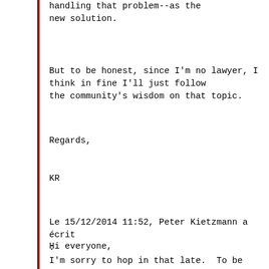handling that problem--as the new solution.
But to be honest, since I'm no lawyer, I think in fine I'll just follow the community's wisdom on that topic.
Regards,
KR
Le 15/12/2014 11:52, Peter Kietzmann a écrit :
Hi everyone,
I'm sorry to hop in that late.  To be honest, I didn't come to a final